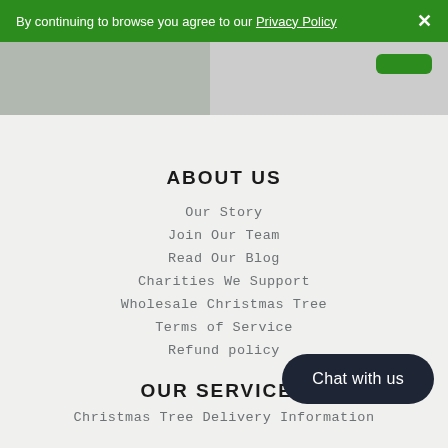By continuing to browse you agree to our Privacy Policy ×
[Figure (photo): Partial view of a room/interior image on the left, and a green button on the right side]
ABOUT US
Our Story
Join Our Team
Read Our Blog
Charities We Support
Wholesale Christmas Tree
Terms of Service
Refund policy
Chat with us
OUR SERVICES
Christmas Tree Delivery Information